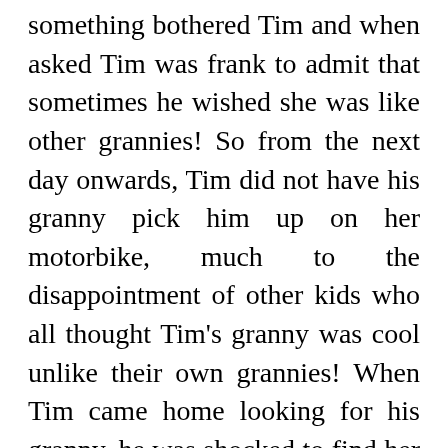something bothered Tim and when asked Tim was frank to admit that sometimes he wished she was like other grannies! So from the next day onwards, Tim did not have his granny pick him up on her motorbike, much to the disappointment of other kids who all thought Tim's granny was cool unlike their own grannies! When Tim came home looking for his granny, he was shocked to find her sitting on a rocking chair knitting, and as he began to talk to her, she fell asleep! Tim was disappointed as he was hoping to play with his granny in the garden and that's when he realized that he wanted his old granny back. Tim then confides in his granny that he doesn't want an ordinary granny but a special granny like her! Tim's granny is overjoyed and leaps out of her rocking chair and shows him his surprise which is two